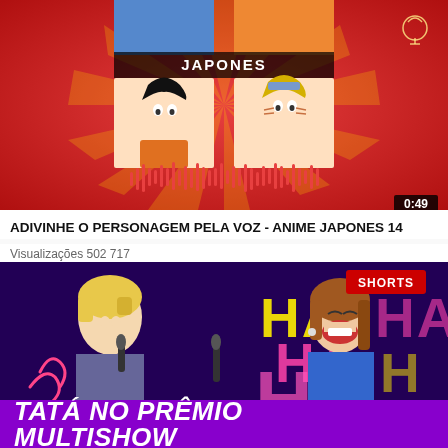[Figure (screenshot): YouTube video thumbnail showing anime characters (Goku and Naruto) in a grid with red sunburst background, text 'JAPONES' and audio waveform. Duration badge showing 0:49.]
ADIVINHE O PERSONAGEM PELA VOZ - ANIME JAPONES 14
Visualizações 502 717
[Figure (screenshot): YouTube Shorts thumbnail showing two women on a colorful stage, one blonde holding microphone, one in blue dress laughing. Large 'HA HA H' text in background. 'SHORTS' badge top right. Bottom purple banner with 'TATÁ NO PRÊMIO MULTISHOW'.]